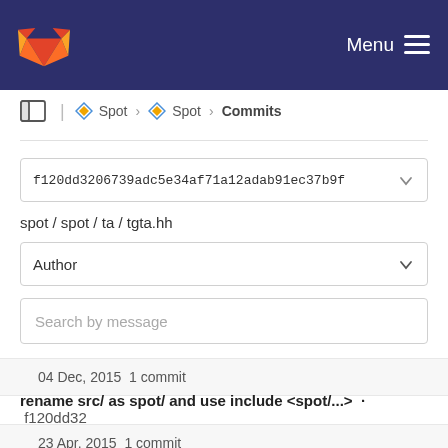Menu
Spot › Spot › Commits
f120dd3206739adc5e34af71a12adab91ec37b9f
spot / spot / ta / tgta.hh
Author
Search by message
04 Dec, 2015 1 commit
rename src/ as spot/ and use include <spot/...> · f120dd32
Alexandre Duret-Lutz authored 6 years ago
23 Apr, 2015 1 commit